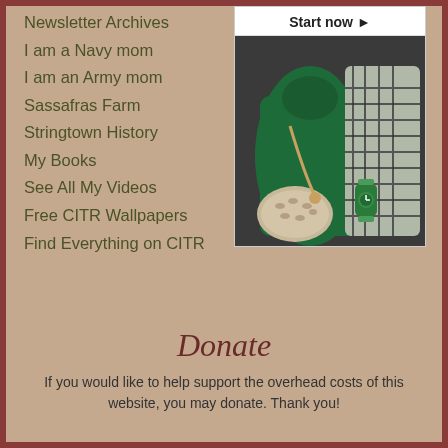Newsletter Archives
I am a Navy mom
I am an Army mom
Sassafras Farm
Stringtown History
My Books
See All My Videos
Free CITR Wallpapers
Find Everything on CITR
[Figure (photo): Advertisement showing green turtleneck sweater, plaid shirt, snakeskin bag, and green watch with 'Start now' button]
Donate
If you would like to help support the overhead costs of this website, you may donate. Thank you!